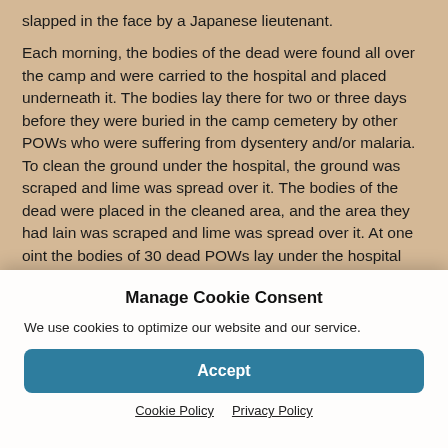slapped in the face by a Japanese lieutenant.
Each morning, the bodies of the dead were found all over the camp and were carried to the hospital and placed underneath it. The bodies lay there for two or three days before they were buried in the camp cemetery by other POWs who were suffering from dysentery and/or malaria. To clean the ground under the hospital, the ground was scraped and lime was spread over it. The bodies of the dead were placed in the cleaned area, and the area they had lain was scraped and lime was spread over it. At one
Manage Cookie Consent
We use cookies to optimize our website and our service.
Accept
Cookie Policy   Privacy Policy